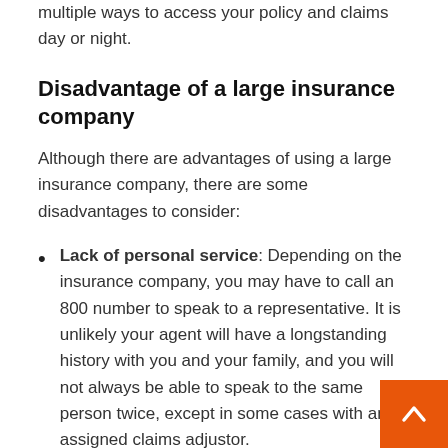through the app, large insurance companies offer multiple ways to access your policy and claims day or night.
Disadvantage of a large insurance company
Although there are advantages of using a large insurance company, there are some disadvantages to consider:
Lack of personal service: Depending on the insurance company, you may have to call an 800 number to speak to a representative. It is unlikely your agent will have a longstanding history with you and your family, and you will not always be able to speak to the same person twice, except in some cases with an assigned claims adjustor.